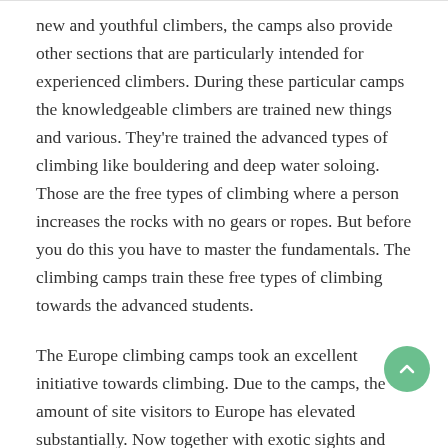new and youthful climbers, the camps also provide other sections that are particularly intended for experienced climbers. During these particular camps the knowledgeable climbers are trained new things and various. They're trained the advanced types of climbing like bouldering and deep water soloing. Those are the free types of climbing where a person increases the rocks with no gears or ropes. But before you do this you have to master the fundamentals. The climbing camps train these free types of climbing towards the advanced students.
The Europe climbing camps took an excellent initiative towards climbing. Due to the camps, the amount of site visitors to Europe has elevated substantially. Now together with exotic sights and scrumptious cuisines you may also benefit from